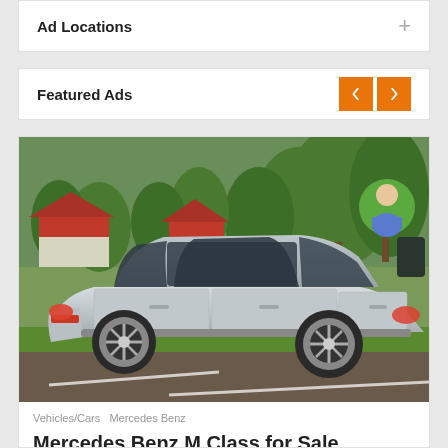Ad Locations
Featured Ads
[Figure (photo): Silver Mercedes-Benz M-Class SUV parked on a roadside with green trees, red-roofed buildings in background, and a user avatar icon in the top right corner of the image.]
Vehicles/Cars  Mercedes Benz
Mercedes Benz M Class for Sale